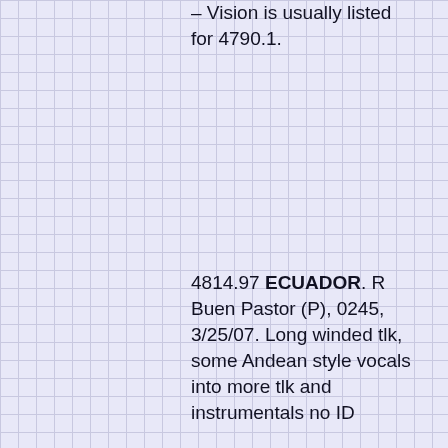– Vision is usually listed for 4790.1.
4814.97 ECUADOR. R Buen Pastor (P), 0245, 3/25/07. Long winded tlk, some Andean style vocals into more tlk and instrumentals no ID